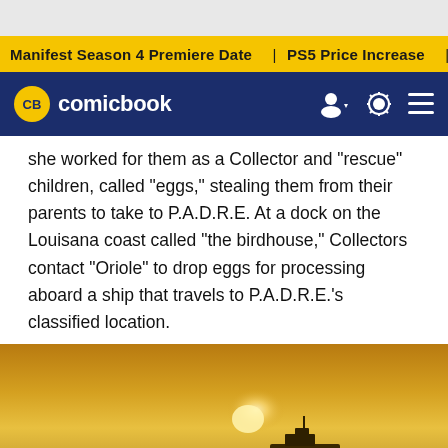Manifest Season 4 Premiere Date | PS5 Price Increase | Jon M
CB comicbook
she worked for them as a Collector and "rescue" children, called "eggs," stealing them from their parents to take to P.A.D.R.E. At a dock on the Louisana coast called "the birdhouse," Collectors contact "Oriole" to drop eggs for processing aboard a ship that travels to P.A.D.R.E.'s classified location.
[Figure (photo): A sunset scene over open water with a silhouetted ship on the horizon and a small boat in the foreground, bathed in golden yellow-orange light.]